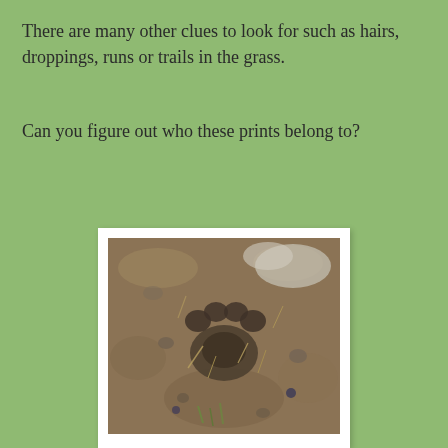There are many other clues to look for such as hairs, droppings, runs or trails in the grass.
Can you figure out who these prints belong to?
[Figure (photo): A close-up photograph of an animal paw print pressed into muddy ground, showing toe pads and overall foot impression surrounded by mud, small stones, and bits of dry grass.]